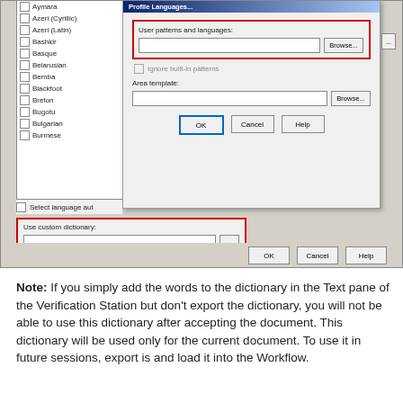[Figure (screenshot): Screenshot of a software dialog for language settings with 'User patterns and languages' and 'Use custom dictionary' fields highlighted in red borders, and a language list on the left (Aymara, Azeri Cyrillic, Azeri Latin, Bashkir, Basque, Belarusian, Bemba, Blackfoot, Breton, Bugotu, Bulgarian, Burmese). Dialog has OK, Cancel, Help buttons.]
Note: If you simply add the words to the dictionary in the Text pane of the Verification Station but don't export the dictionary, you will not be able to use this dictionary after accepting the document. This dictionary will be used only for the current document. To use it in future sessions, export is and load it into the Workflow.